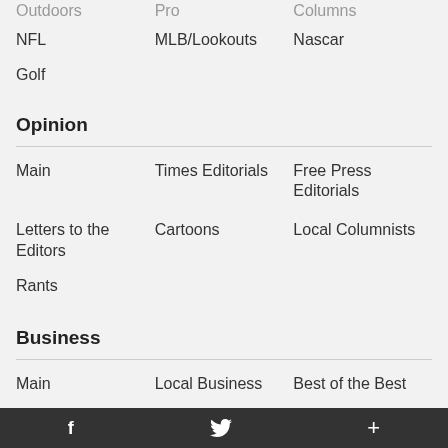Outdoors
Pro
Columns
NFL
MLB/Lookouts
Nascar
Golf
Opinion
Main
Times Editorials
Free Press Editorials
Letters to the Editors
Cartoons
Local Columnists
Rants
Business
Main
Local Business
Best of the Best
f  [twitter]  +